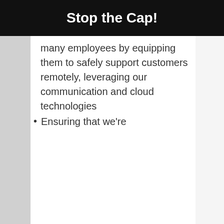Stop the Cap!
many employees by equipping them to safely support customers remotely, leveraging our communication and cloud technologies
Ensuring that we're